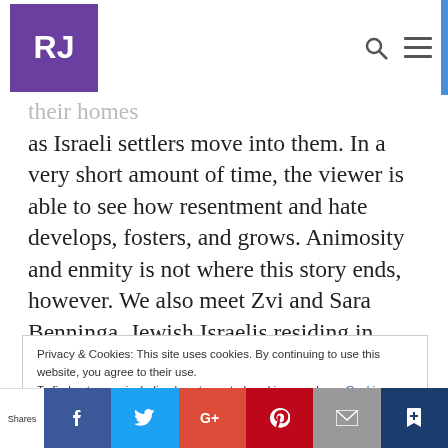RJ
the neighborhood of Sheikh Jarrah in East Jerusalem. He and his family and many neighbors are forced to give up their homes as Israeli settlers move into them. In a very short amount of time, the viewer is able to see how resentment and hate develops, fosters, and grows. Animosity and enmity is not where this story ends, however. We also meet Zvi and Sara Benninga, Jewish Israelis residing in West Jerusalem who develop a relationship with Mohammed and join in
Privacy & Cookies: This site uses cookies. By continuing to use this website, you agree to their use.
To find out more, including how to control cookies, see here: Cookie Policy
Close and accept
Shares